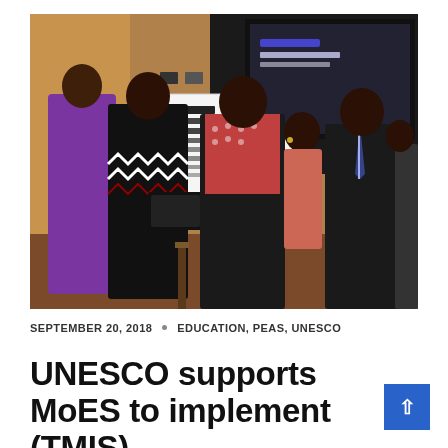[Figure (photo): Group of people at an event. Two women in the foreground are exchanging or examining a tablet device. Behind them is a banner reading 'Teacher Management Information System, tmis.go.ug' and a Ministry of Education and Sports logo. Other attendees stand in the background. A man in a suit and tie stands to the right.]
SEPTEMBER 20, 2018  •  EDUCATION, PEAS, UNESCO
UNESCO supports MoES to implement (TMIS)